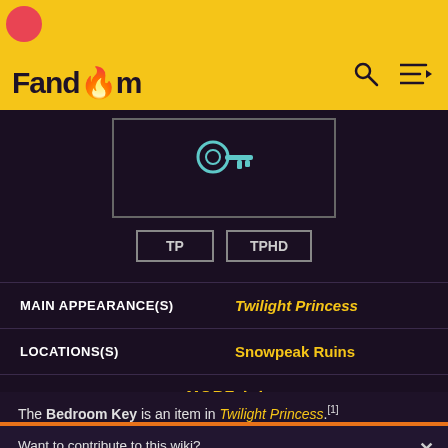Fandom
[Figure (screenshot): Item image of the Bedroom Key with TP and TPHD tabs below]
| Field | Value |
| --- | --- |
| MAIN APPEARANCE(S) | Twilight Princess |
| LOCATIONS(S) | Snowpeak Ruins |
MORE
The Bedroom Key is an item in Twilight Princess.[1]
Want to contribute to this wiki? Sign up for an account, and get started! Come join the Zelda Wiki community Discord server!